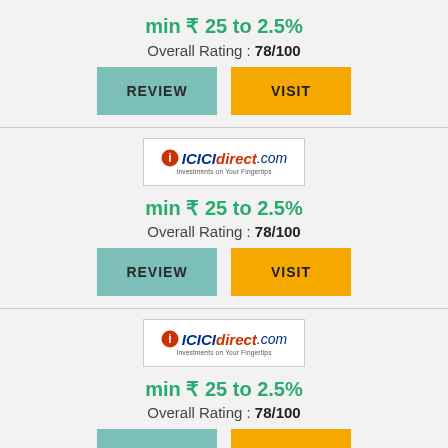min ₹ 25 to 2.5%
Overall Rating : 78/100
[Figure (logo): ICICIdirect.com logo - Investments on Your Fingertips]
min ₹ 25 to 2.5%
Overall Rating : 78/100
[Figure (logo): ICICIdirect.com logo - Investments on Your Fingertips]
min ₹ 25 to 2.5%
Overall Rating : 78/100
[Figure (logo): ICICIdirect.com logo - Investments on Your Fingertips]
min ₹ 25 to 2.5%
Overall Rating : 78/100